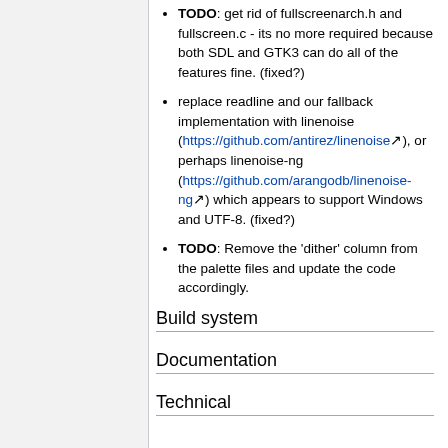TODO: get rid of fullscreenarch.h and fullscreen.c - its no more required because both SDL and GTK3 can do all of the features fine. (fixed?)
replace readline and our fallback implementation with linenoise (https://github.com/antirez/linenoise), or perhaps linenoise-ng (https://github.com/arangodb/linenoise-ng) which appears to support Windows and UTF-8. (fixed?)
TODO: Remove the 'dither' column from the palette files and update the code accordingly.
Build system
Documentation
Technical